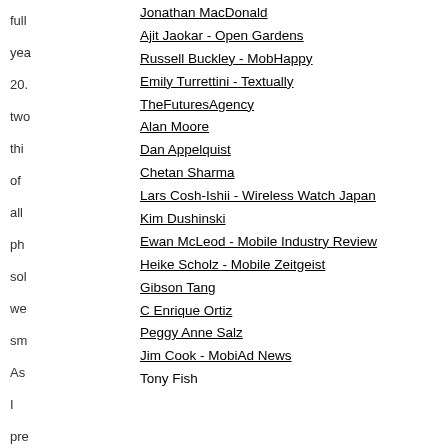full
Jonathan MacDonald
yea
Ajit Jaokar - Open Gardens
20.
Russell Buckley - MobHappy
two
Emily Turrettini - Textually
thi
TheFuturesAgency
of
Alan Moore
all
Dan Appelquist
ph
Chetan Sharma
sol
Lars Cosh-Ishii - Wireless Watch Japan
we
Kim Dushinski
sm
Ewan McLeod - Mobile Industry Review
As
Heike Scholz - Mobile Zeitgeist
I
Gibson Tang
pre
C Enrique Ortiz
tha
Peggy Anne Salz
da
Jim Cook - MobiAd News
is
Tony Fish